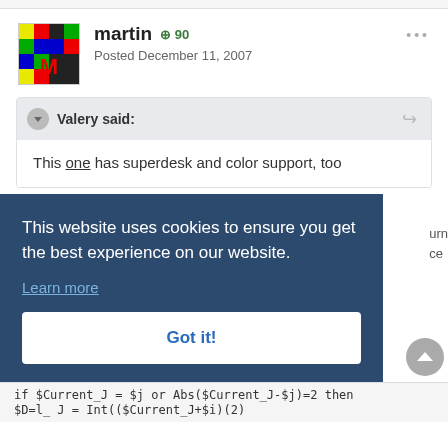martin +90
Posted December 11, 2007
Valery said:
This one has superdesk and color support, too
This website uses cookies to ensure you get the best experience on our website.
Learn more
Got it!
urn
ce
if $Current_J = $j or Abs($Current_J-$j)=2 then
$D=1_ J  = Int(($Current_J+$i)(2)